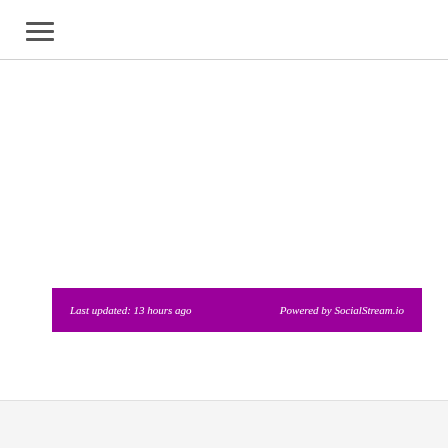Last updated: 13 hours ago    Powered by SocialStream.io